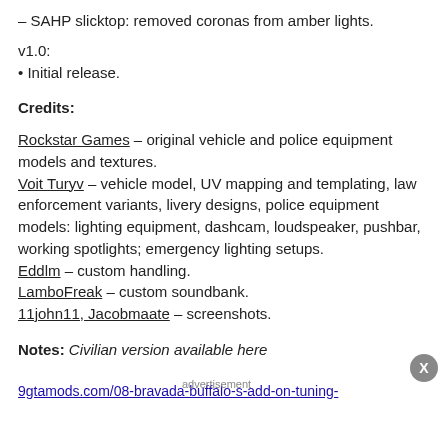– SAHP slicktop: removed coronas from amber lights.
v1.0:
• Initial release.
Credits:
Rockstar Games – original vehicle and police equipment models and textures.
Voit Turyv – vehicle model, UV mapping and templating, law enforcement variants, livery designs, police equipment models: lighting equipment, dashcam, loudspeaker, pushbar, working spotlights; emergency lighting setups.
Eddlm – custom handling.
LamboFreak – custom soundbank.
11john11, Jacobmaate – screenshots.
Notes: Civilian version available here
9gtamods.com/08-bravada-buffalo-s-add-on-tuning-